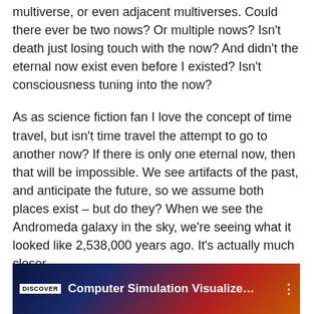multiverse, or even adjacent multiverses.  Could there ever be two nows?  Or multiple nows?  Isn't death just losing touch with the now?  And didn't the eternal now exist even before I existed?  Isn't consciousness tuning into the now?
As as science fiction fan I love the concept of time travel, but isn't time travel the attempt to go to another now?  If there is only one eternal now, then that will be impossible.  We see artifacts of the past, and anticipate the future, so we assume both places exist – but do they?  When we see the Andromeda galaxy in the sky, we're seeing what it looked like 2,538,000 years ago.  It's actually much closer.
[Figure (screenshot): Video thumbnail showing a space/cosmic image with DISCOVER badge and title 'Computer Simulation Visualize...' with a three-dot menu icon on the right]